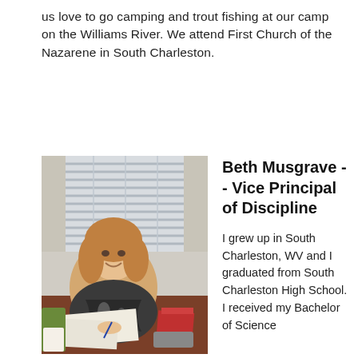us love to go camping and trout fishing at our camp on the Williams River. We attend First Church of the Nazarene in South Charleston.
[Figure (photo): A woman smiling at the camera, seated at a desk with papers and office items, in what appears to be a school office with blinds in the background.]
Beth Musgrave -- Vice Principal of Discipline
I grew up in South Charleston, WV and I graduated from South Charleston High School. I received my Bachelor of Science